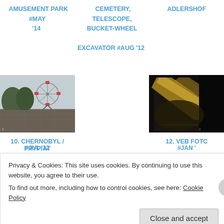AMUSEMENT PARK #MAY '14
CEMETERY, TELESCOPE, BUCKET-WHEEL EXCAVATOR #AUG '12
ADLERSHOF
[Figure (photo): Abandoned amusement park with Ferris wheel, Chernobyl / Prypiat]
[Figure (photo): Dark night-time photo, VEB FOTO, Adlershof]
10. CHERNOBYL / PRYPIAT
#JUL '12
12. VEB FOTC
#JAN '
Privacy & Cookies: This site uses cookies. By continuing to use this website, you agree to their use.
To find out more, including how to control cookies, see here: Cookie Policy
Close and accept